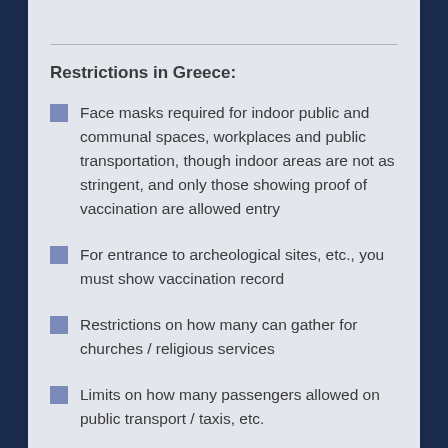Restrictions in Greece:
Face masks required for indoor public and communal spaces, workplaces and public transportation, though indoor areas are not as stringent, and only those showing proof of vaccination are allowed entry
For entrance to archeological sites, etc., you must show vaccination record
Restrictions on how many can gather for churches / religious services
Limits on how many passengers allowed on public transport / taxis, etc.